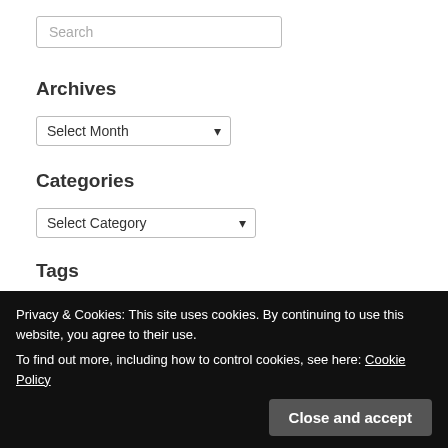Search
Archives
Select Month
Categories
Select Category
Tags
architecture  art  Autumn  beach  birdsong  Carmarthenshire  colour
Privacy & Cookies: This site uses cookies. By continuing to use this website, you agree to their use.
To find out more, including how to control cookies, see here: Cookie Policy
Close and accept